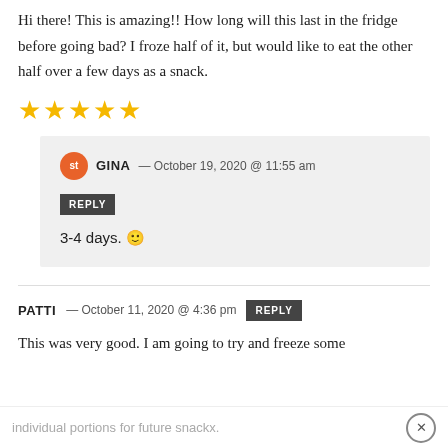Hi there! This is amazing!! How long will this last in the fridge before going bad? I froze half of it, but would like to eat the other half over a few days as a snack.
[Figure (other): Five gold star rating icons]
GINA — October 19, 2020 @ 11:55 am
REPLY
3-4 days. 🙂
PATTI — October 11, 2020 @ 4:36 pm   REPLY
This was very good. I am going to try and freeze some
individual portions for future snackx.